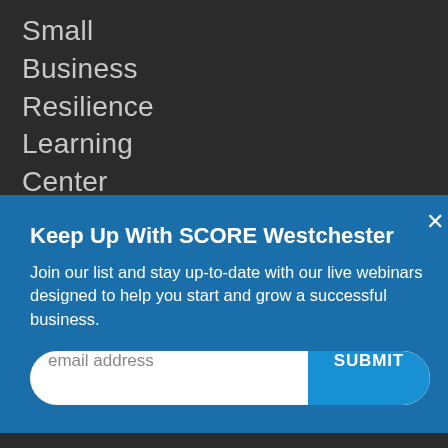Small
Business
Resilience
Learning
Center
Virtual
Keep Up With SCORE Westchester
Join our list and stay up-to-date with our live webinars designed to help you start and grow a successful business.
email address
SUBMIT
Partner
Who
We